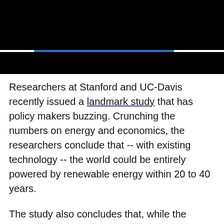[Figure (other): Black header banner with a horizontal white stripe and a blue segment overlaid on the stripe]
Researchers at Stanford and UC-Davis recently issued a landmark study that has policy makers buzzing. Crunching the numbers on energy and economics, the researchers conclude that -- with existing technology -- the world could be entirely powered by renewable energy within 20 to 40 years.
The study also concludes that, while the technology is there, the political will to make changes may not be. In this edition of Seeker Daily, Laura Ling looks at countries that have already switched to alternative sources for some or all of their energy needs.